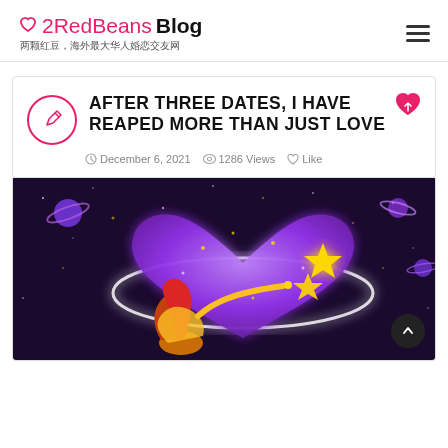2RedBeans Blog 两颗红豆，海外最大华人婚恋交友网
AFTER THREE DATES, I HAVE REAPED MORE THAN JUST LOVE
December 6, 2021 · 1286 Views · Like
[Figure (illustration): Illustration of a woman with red hair reaching toward a large glowing purple heart surrounded by golden stars and planet-like rings on a dark cosmic background]